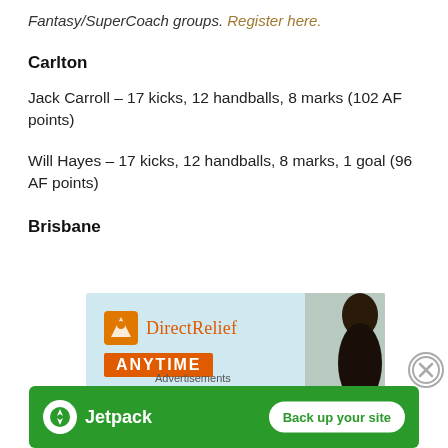Fantasy/SuperCoach groups. Register here.
Carlton
Jack Carroll – 17 kicks, 12 handballs, 8 marks (102 AF points)
Will Hayes – 17 kicks, 12 handballs, 8 marks, 1 goal (96 AF points)
Brisbane
[Figure (other): DirectRelief advertisement banner with logo and 'ANYTIME' text, with person in background]
[Figure (other): Jetpack advertisement banner: green background, Jetpack logo on left, 'Back up your site' button on right. Label 'Advertisements' above.]